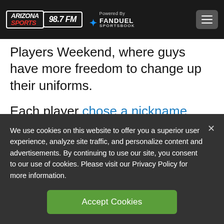Arizona Sports 98.7 FM — Powered By FanDuel Sportsbook
Players Weekend, where guys have more freedom to change up their uniforms.
Each player chose a nickname weeks ago to throw on the back of their jersey that they will wear proudly this weekend.
We use cookies on this website to offer you a superior user experience, analyze site traffic, and personalize content and advertisements. By continuing to use our site, you consent to our use of cookies. Please visit our Privacy Policy for more information.
Accept Cookies